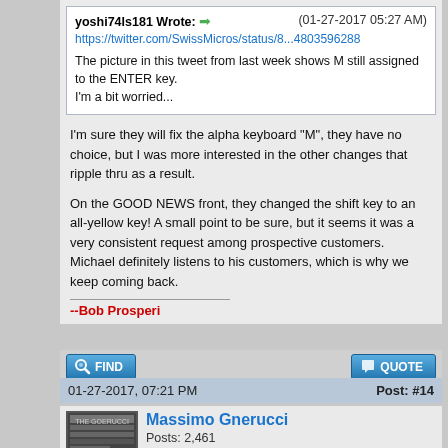yoshi74ls181 Wrote: ➡ (01-27-2017 05:27 AM)
https://twitter.com/SwissMicros/status/8...4803596288

The picture in this tweet from last week shows M still assigned to the ENTER key.
I'm a bit worried...
I'm sure they will fix the alpha keyboard "M", they have no choice, but I was more interested in the other changes that ripple thru as a result.
On the GOOD NEWS front, they changed the shift key to an all-yellow key! A small point to be sure, but it seems it was a very consistent request among prospective customers. Michael definitely listens to his customers, which is why we keep coming back.
--Bob Prosperi
[Figure (screenshot): FIND button (blue gradient with magnifier icon)]
[Figure (screenshot): QUOTE button (blue gradient with quote icon)]
01-27-2017, 07:21 PM
Post: #14
[Figure (photo): Avatar thumbnail of book cover for Massimo Gnerucci]
Massimo Gnerucci
Posts: 2,461